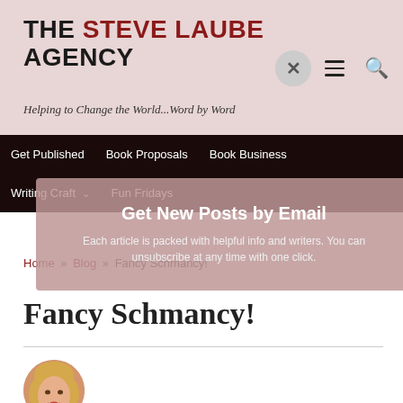THE STEVE LAUBE AGENCY
Helping to Change the World...Word by Word
Get Published | Book Proposals | Book Business | Writing Craft | Fun Fridays
Home » Blog » Fancy Schmancy!
Get New Posts by Email
Each article is packed with helpful info and writers. You can unsubscribe at any time with one click.
Fancy Schmancy!
[Figure (photo): Author headshot: blonde woman smiling]